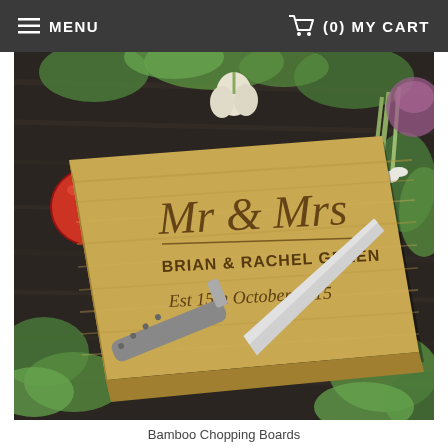MENU  (0) MY CART
[Figure (photo): A personalized bamboo chopping board engraved with 'Mr & Mrs BRIAN & RACHEL GREEN Est 15th October 2015', placed on a dark wooden surface with vegetables (tomatoes, garlic, herbs) and a kitchen knife around it.]
Bamboo Chopping Boards